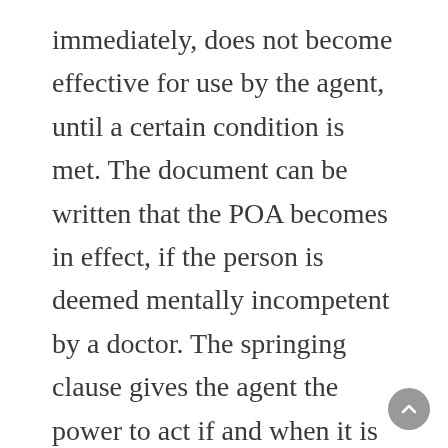immediately, does not become effective for use by the agent, until a certain condition is met. The document can be written that the POA becomes in effect, if the person is deemed mentally incompetent by a doctor. The springing clause gives the agent the power to act if and when it is necessary for someone else to take over the individual's affairs.
Having an estate planning attorney create the power of